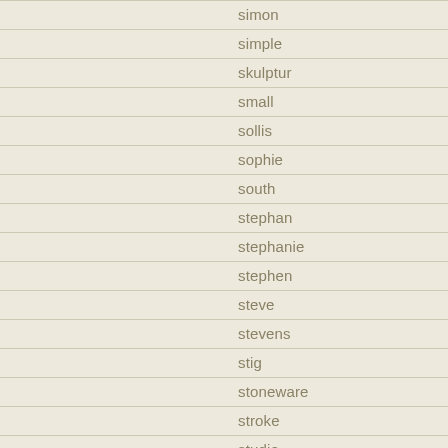simon
simple
skulptur
small
sollis
sophie
south
stephan
stephanie
stephen
steve
stevens
stig
stoneware
stroke
studio